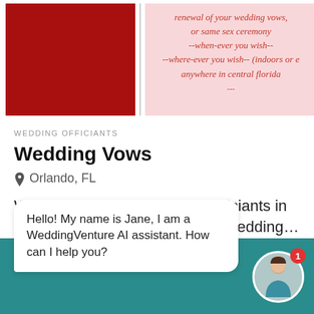[Figure (screenshot): Top section showing a dark red/maroon block on the left and a pink background with italic red cursive text on the right reading partial lines about traditional ceremony, renewal of wedding vows, same sex ceremony, when-ever you wish, where-ever you wish (indoors or e..., anywhere in central florida, followed by decorative dashes]
WEDDING OFFICIANTS
Wedding Vows
Orlando, FL
Wedding Vows is a wedding officiants in Orlando. Wedding Vows offers wedding…
Hello! My name is Jane, I am a WeddingVenture AI assistant. How can I help you?